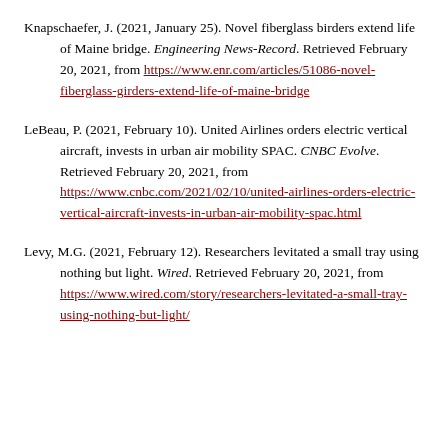Knapschaefer, J. (2021, January 25). Novel fiberglass birders extend life of Maine bridge. Engineering News-Record. Retrieved February 20, 2021, from https://www.enr.com/articles/51086-novel-fiberglass-girders-extend-life-of-maine-bridge
LeBeau, P. (2021, February 10). United Airlines orders electric vertical aircraft, invests in urban air mobility SPAC. CNBC Evolve. Retrieved February 20, 2021, from https://www.cnbc.com/2021/02/10/united-airlines-orders-electric-vertical-aircraft-invests-in-urban-air-mobility-spac.html
Levy, M.G. (2021, February 12). Researchers levitated a small tray using nothing but light. Wired. Retrieved February 20, 2021, from https://www.wired.com/story/researchers-levitated-a-small-tray-using-nothing-but-light/